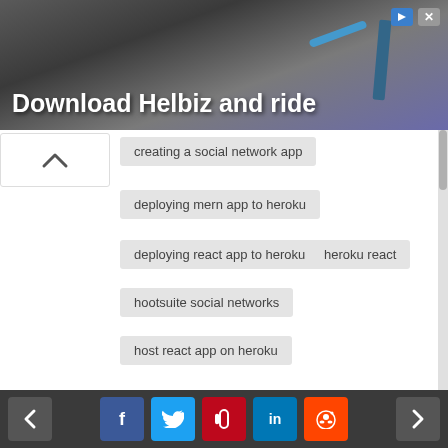[Figure (photo): Advertisement banner with dark background showing bicycle handlebar and text 'Download Helbiz and ride']
creating a social network app
deploying mern app to heroku
deploying react app to heroku
heroku react
hootsuite social networks
host react app on heroku
mobile app development react native
mobile app development with react native
react app development
react application development
react development agency
react development company
< f t p in reddit >